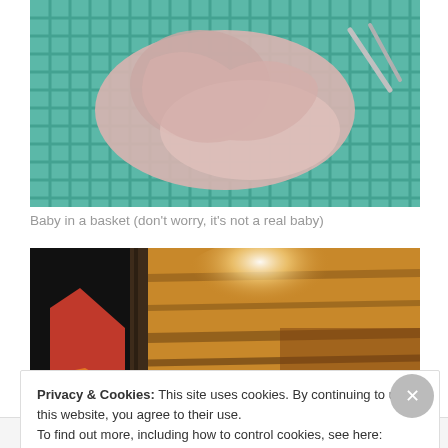[Figure (photo): Photo of pink fabric/clothing in a teal/green plastic laundry basket, viewed from above]
Baby in a basket (don't worry, it's not a real baby)
[Figure (photo): Photo showing a car tail light on the left (red/orange) and a wooden panel or wood-grain surface with strong light reflection on the right]
Privacy & Cookies: This site uses cookies. By continuing to use this website, you agree to their use.
To find out more, including how to control cookies, see here: Cookie Policy
Close and accept
Follow